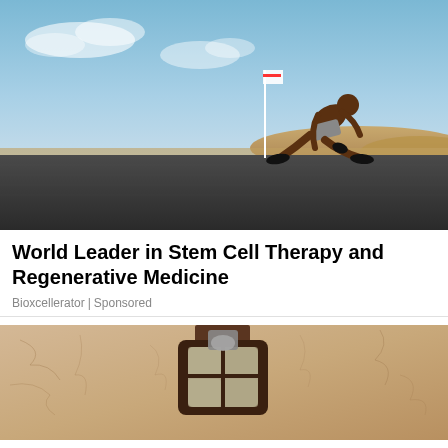[Figure (photo): A shirtless athletic man in a sprinter's starting stance on a flat asphalt road in a desert landscape, with a white flag pole nearby, sandy dunes in the background and blue sky above.]
World Leader in Stem Cell Therapy and Regenerative Medicine
Bioxcellerator | Sponsored
[Figure (photo): Close-up of a vintage outdoor wall lamp mounted on a textured sandy/beige stucco wall, with the lamp housing showing dark metal framing and glass panels.]